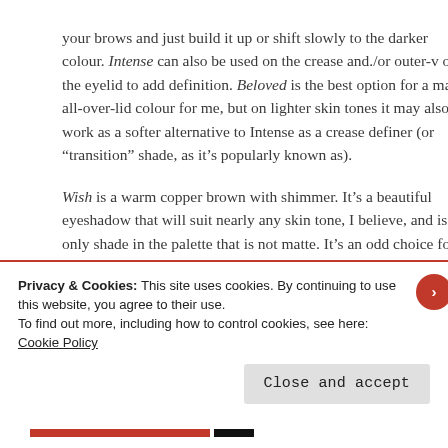your brows and just build it up or shift slowly to the darker colour. Intense can also be used on the crease and./or outer-v of the eyelid to add definition. Beloved is the best option for a matte all-over-lid colour for me, but on lighter skin tones it may also work as a softer alternative to Intense as a crease definer (or "transition" shade, as it’s popularly known as).
Wish is a warm copper brown with shimmer. It’s a beautiful eyeshadow that will suit nearly any skin tone, I believe, and is the only shade in the palette that is not matte. It’s an odd choice for a shimmer shade because usually palettes will feature a bronze or a peach. The
Privacy & Cookies: This site uses cookies. By continuing to use this website, you agree to their use.
To find out more, including how to control cookies, see here: Cookie Policy